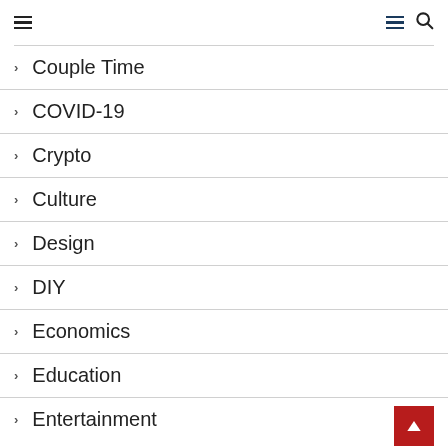Navigation menu with hamburger icons and search
Couple Time
COVID-19
Crypto
Culture
Design
DIY
Economics
Education
Entertainment